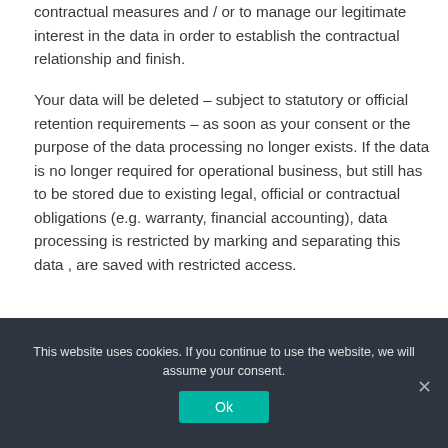contractual measures and / or to manage our legitimate interest in the data in order to establish the contractual relationship and finish.
Your data will be deleted – subject to statutory or official retention requirements – as soon as your consent or the purpose of the data processing no longer exists. If the data is no longer required for operational business, but still has to be stored due to existing legal, official or contractual obligations (e.g. warranty, financial accounting), data processing is restricted by marking and separating this data , are saved with restricted access.
This website uses cookies. If you continue to use the website, we will assume your consent.